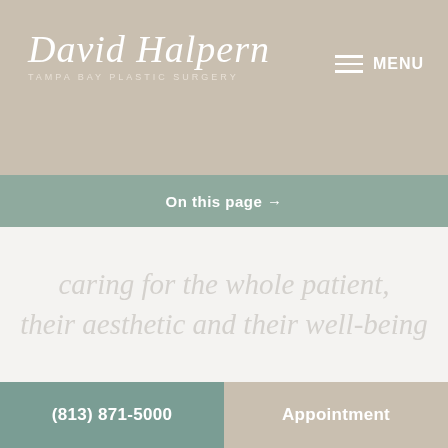David Halpern Tampa Bay Plastic Surgery
MENU
On this page →
[Figure (photo): Faded watermark-style background image of a woman's face in soft muted tones with italic script text overlay reading 'caring for the whole patient, their aesthetic and their well-being']
(813) 871-5000 | Appointment